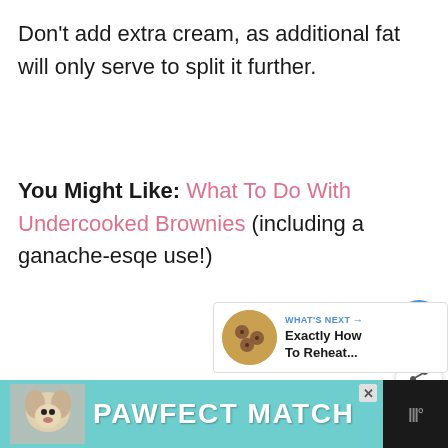Don't add extra cream, as additional fat will only serve to split it further.
You Might Like: What To Do With Undercooked Brownies (including a ganache-esqe use!)
[Figure (screenshot): Favorite (heart) button and share button on right sidebar]
[Figure (screenshot): What's Next panel showing cookies image and text 'Exactly How To Reheat...']
[Figure (screenshot): Advertisement banner at bottom: PAWFECT MATCH with dog image on teal background]